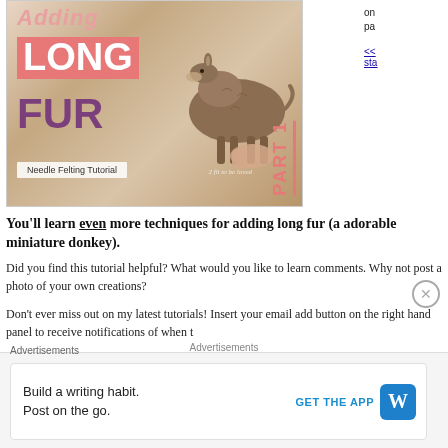[Figure (photo): Needle felting tutorial thumbnail showing 'Adding Long Fur' text with a miniature felted donkey, Part 1]
You'll learn even more techniques for adding long fur (a adorable miniature donkey).
Did you find this tutorial helpful? What would you like to learn comments. Why not post a photo of your own creations?
Don't ever miss out on my latest tutorials! Insert your email add button on the right hand panel to receive notifications of when t
Advertisements
[Figure (screenshot): WordPress advertisement: Build a writing habit. Post on the go. GET THE APP with WordPress logo]